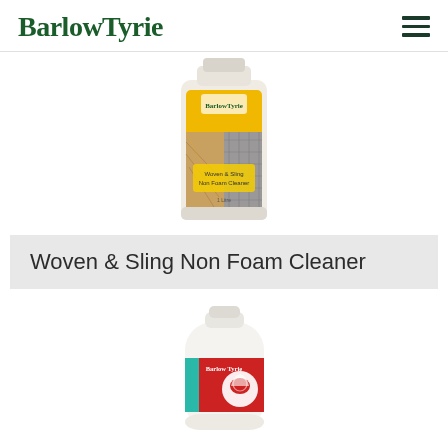BarlowTyrie
[Figure (photo): White plastic bottle with yellow label showing Barlow Tyrie Woven & Sling Non Foam Cleaner product]
Woven & Sling Non Foam Cleaner
[Figure (photo): White rounded plastic bottle with red and teal label showing a Barlow Tyrie cleaning product]